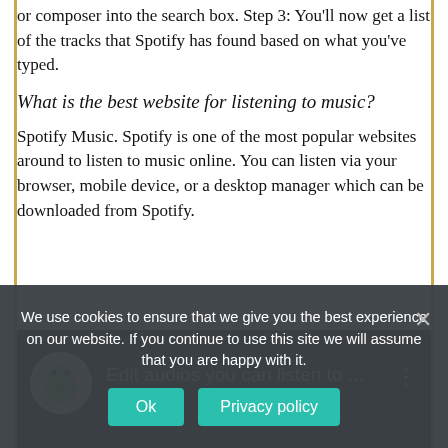or composer into the search box. Step 3: You'll now get a list of the tracks that Spotify has found based on what you've typed.
What is the best website for listening to music?
Spotify Music. Spotify is one of the most popular websites around to listen to music online. You can listen via your browser, mobile device, or a desktop manager which can be downloaded from Spotify.
[Figure (screenshot): Embedded video thumbnail showing a frog character icon and the title 'Edit audios you can listen to ...' on a black background with a three-dot menu icon]
We use cookies to ensure that we give you the best experience on our website. If you continue to use this site we will assume that you are happy with it.